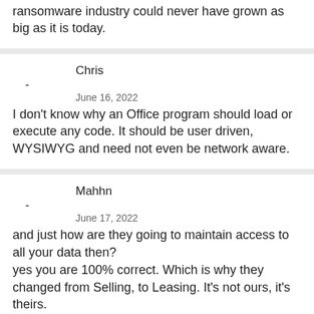ransomware industry could never have grown as big as it is today.
Chris
-
June 16, 2022
I don't know why an Office program should load or execute any code. It should be user driven, WYSIWYG and need not even be network aware.
Mahhn
-
June 17, 2022
and just how are they going to maintain access to all your data then?
yes you are 100% correct. Which is why they changed from Selling, to Leasing. It’s not ours, it’s theirs.
Want to be really horrified, read the EULA to see what we gave have access to (goog’s is worse,